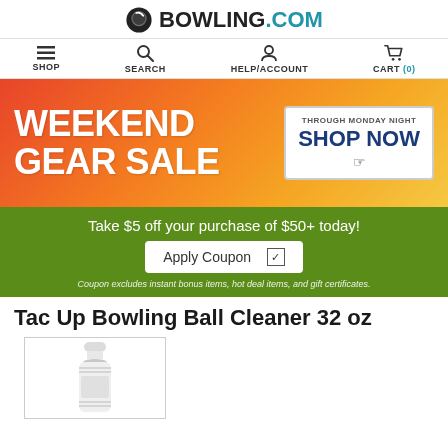[Figure (logo): BOWLING.COM logo with bowling ball icon]
SHOP | SEARCH | HELP/ACCOUNT | CART (0)
[Figure (infographic): Weekend Gear Sale banner with orange/red gradient background. Text: WEEKEND GEAR SALE. Button: THROUGH MONDAY NIGHT / SHOP NOW with cursor icon.]
Take $5 off your purchase of $50+ today!
Apply Coupon ☑
Coupon excludes instant bonus items, hot deal items, and gift certificates.
Tac Up Bowling Ball Cleaner 32 oz
[Figure (photo): Product photo of Tac Up Bowling Ball Cleaner 32 oz bottle, white bottle with cap, shown in a bordered image box.]